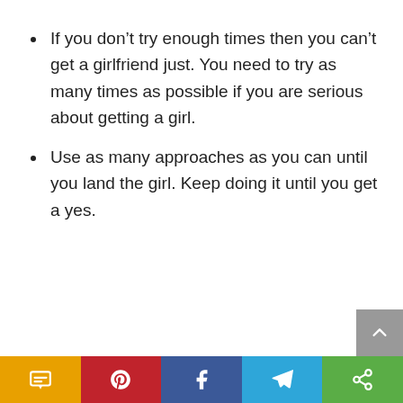If you don’t try enough times then you can’t get a girlfriend just. You need to try as many times as possible if you are serious about getting a girl.
Use as many approaches as you can until you land the girl. Keep doing it until you get a yes.